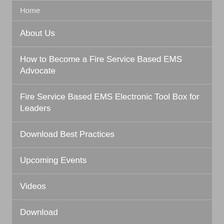About Us
How to Become a Fire Service Based EMS Advocate
Fire Service Based EMS Electronic Tool Box for Leaders
Download Best Practices
Upcoming Events
Videos
Download
Best Practices